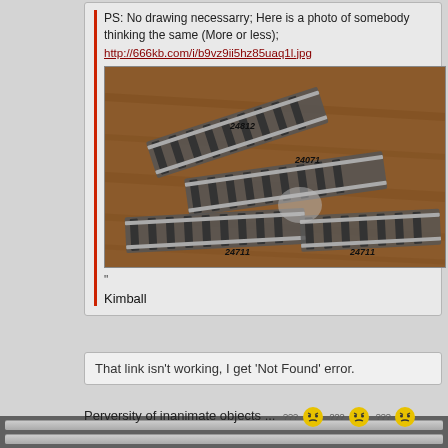PS: No drawing necessarry; Here is a photo of somebody thinking the same (More or less);
http://666kb.com/i/b9vz9ii5hz85uaq1l.jpg
[Figure (photo): Photo of model train track switches/turnouts on a wooden floor, labeled with numbers 24912, 24071, 24711, 24711]
"
Kimball
That link isn't working, I get 'Not Found' error.
Hah, but as soon as I post that, the link shows a picture 😠 😠 😠
Perversity of inanimate objects ... ??? 😠 ??? 😠 ??? 😠